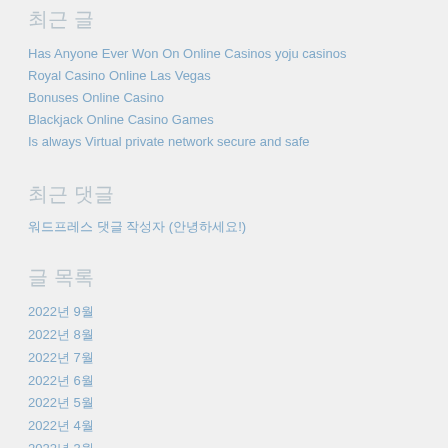최근 글
Has Anyone Ever Won On Online Casinos yoju casinos
Royal Casino Online Las Vegas
Bonuses Online Casino
Blackjack Online Casino Games
Is always Virtual private network secure and safe
최근 댓글
워드프레스 댓글 작성자 (안녕하세요!)
글 목록
2022년 9월
2022년 8월
2022년 7월
2022년 6월
2022년 5월
2022년 4월
2022년 3월
2022년 2월